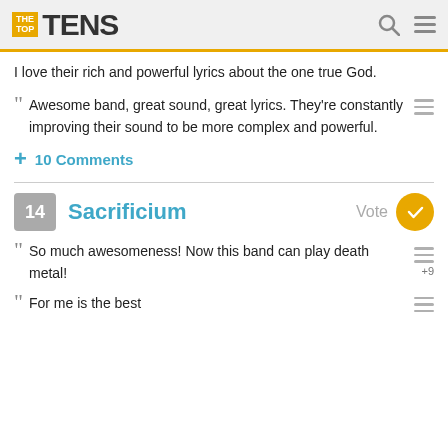The Top Tens
I love their rich and powerful lyrics about the one true God.
Awesome band, great sound, great lyrics. They're constantly improving their sound to be more complex and powerful.
10 Comments
14 Sacrificium
So much awesomeness! Now this band can play death metal!
For me is the best